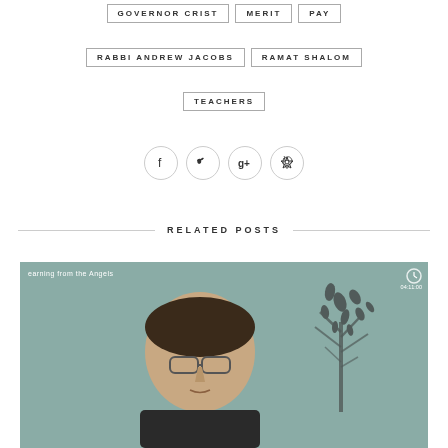GOVERNOR CRIST
MERIT
PAY
RABBI ANDREW JACOBS
RAMAT SHALOM
TEACHERS
[Figure (infographic): Social media share buttons: Facebook, Twitter, Google+, Pinterest]
RELATED POSTS
[Figure (screenshot): Video thumbnail showing a man with glasses in front of a decorative tree background. Text overlay: 'earning from the Angels'. Clock icon and duration visible in top right corner.]